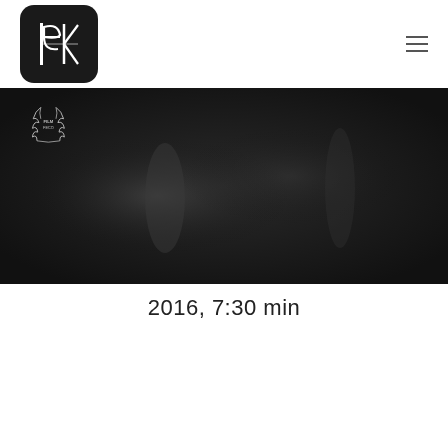ek logo and navigation menu
[Figure (photo): Dark, blurred cinematic still image with a faint film festival award laurel badge overlay in the upper left corner. The image shows shadowy figures in a dark environment with a soft glowing light in the center-left area.]
2016, 7:30 min